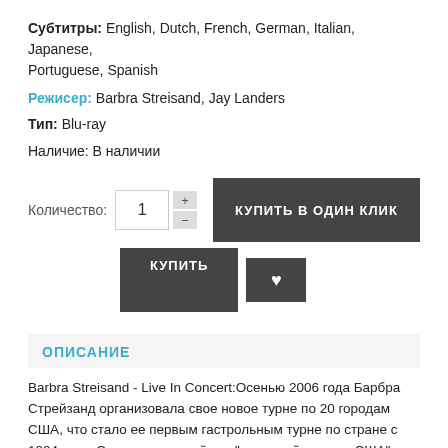Субтитры: English, Dutch, French, German, Italian, Japanese, Portuguese, Spanish
Режисер: Barbra Streisand, Jay Landers
Тип: Blu-ray
Наличие: В наличии
Количество: 1  КУПИТЬ В ОДИН КЛИК  КУПИТЬ  ♥
ОПИСАНИЕ
Barbra Streisand - Live In Concert:Осенью 2006 года Барбра Стрейзанд организовала свое новое турне по 20 городам США, что стало ее первым гастрольным турне по стране с 1994 года. Этот аншлаговый тур "народной певицы США" отражен на выпущенном альбоме "Live In Concert 2006".Трек-лист: Funny Girl Broadway Overture Starting Here Starting Now Opening Remarks Down with Love The Way We were Songweiting (Dialogue) Ma Premiere Chanson Evergreen (with Il Divo) Come Rain or Come Shine Funny Girl (Dialogue)